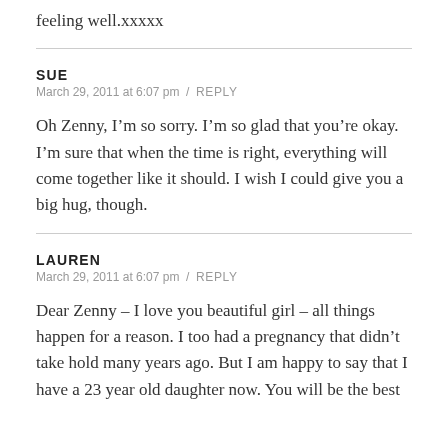feeling well.xxxxx
SUE
March 29, 2011 at 6:07 pm  /  REPLY
Oh Zenny, I’m so sorry. I’m so glad that you’re okay. I’m sure that when the time is right, everything will come together like it should. I wish I could give you a big hug, though.
LAUREN
March 29, 2011 at 6:07 pm  /  REPLY
Dear Zenny – I love you beautiful girl – all things happen for a reason. I too had a pregnancy that didn’t take hold many years ago. But I am happy to say that I have a 23 year old daughter now. You will be the best